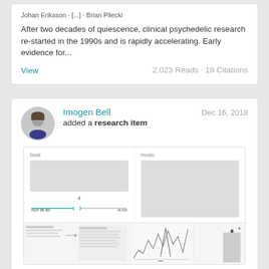Johan Eriksson · [...] · Brian Pilecki
After two decades of quiescence, clinical psychedelic research re-started in the 1990s and is rapidly accelerating. Early evidence for...
View
2,023 Reads · 19 Citations
Imogen Bell
Dec 16, 2018
added a research item
[Figure (screenshot): Screenshot of a research item showing a survey interface with slider labeled 'beat' and 'Not at all' to 'A lot', value 4; and thumbnails of figures including a line chart and a bar chart.]